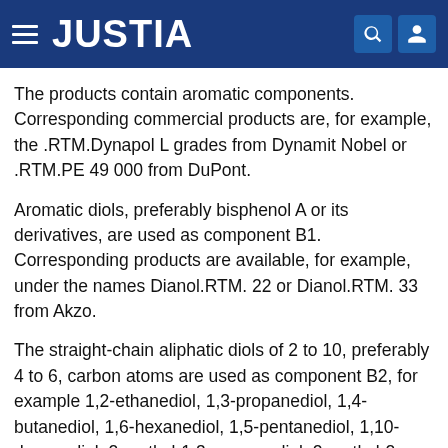JUSTIA
The products contain aromatic components. Corresponding commercial products are, for example, the .RTM.Dynapol L grades from Dynamit Nobel or .RTM.PE 49 000 from DuPont.
Aromatic diols, preferably bisphenol A or its derivatives, are used as component B1. Corresponding products are available, for example, under the names Dianol.RTM. 22 or Dianol.RTM. 33 from Akzo.
The straight-chain aliphatic diols of 2 to 10, preferably 4 to 6, carbon atoms are used as component B2, for example 1,2-ethanediol, 1,3-propanediol, 1,4-butanediol, 1,6-hexanediol, 1,5-pentanediol, 1,10-decanediol, 2-methyl-1,3-propanediol, 2-methyl-2-butyl-1,3-propanediol, 2,2-dimethyl-1,4-butanediol, 2-methyl-2-butyl-1,3-propanediol, neopentylglycol hydroxypicalate,